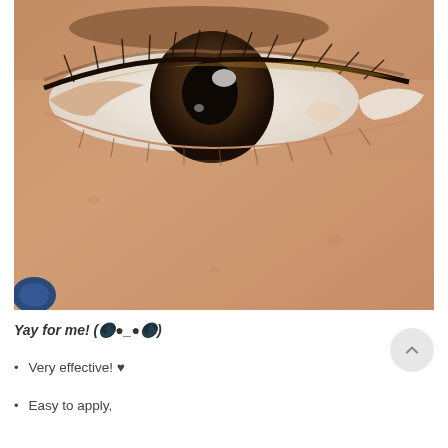[Figure (photo): Close-up photograph of a person's eye and cheek area. The eye is dark brown with visible eyelashes and slight eye makeup. The skin is medium-toned with fine texture visible on the cheek. There is a blue accessory visible at the bottom left corner.]
Yay for me! (🌑●_●🌑)
Very effective! ♥
Easy to apply,